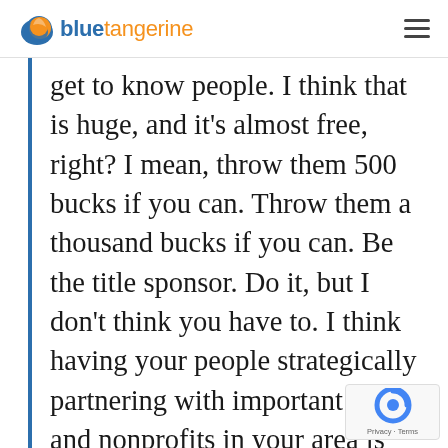blue tangerine
get to know people. I think that is huge, and it's almost free, right? I mean, throw them 500 bucks if you can. Throw them a thousand bucks if you can. Be the title sponsor. Do it, but I don't think you have to. I think having your people strategically partnering with important events and nonprofits in your area is advertising that is so cheap. It takes your time and energy, but it doesn't take your money, and I 100% would